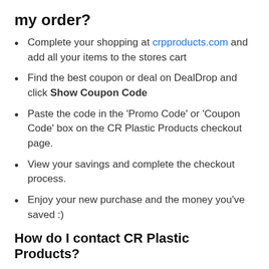my order?
Complete your shopping at crpproducts.com and add all your items to the stores cart
Find the best coupon or deal on DealDrop and click Show Coupon Code
Paste the code in the 'Promo Code' or 'Coupon Code' box on the CR Plastic Products checkout page.
View your savings and complete the checkout process.
Enjoy your new purchase and the money you've saved :)
How do I contact CR Plastic Products?
Visit crpproducts.com